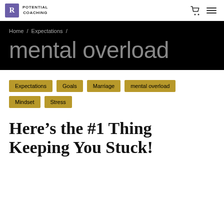R POTENTIAL COACHING
Home / Expectations /
mental overload
Expectations
Goals
Marriage
mental overload
Mindset
Stress
Here’s the #1 Thing Keeping You Stuck!